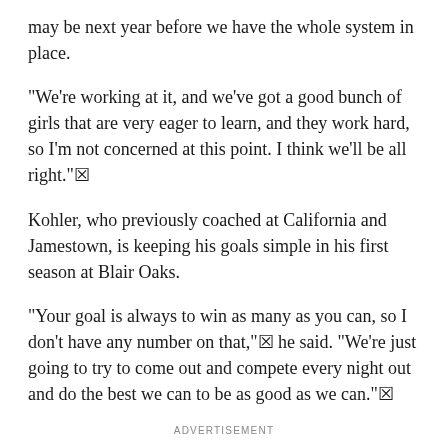may be next year before we have the whole system in place.
"We're working at it, and we've got a good bunch of girls that are very eager to learn, and they work hard, so I'm not concerned at this point. I think we'll be all right."
Kohler, who previously coached at California and Jamestown, is keeping his goals simple in his first season at Blair Oaks.
"Your goal is always to win as many as you can, so I don't have any number on that," he said. "We're just going to try to come out and compete every night out and do the best we can to be as good as we can."
ADVERTISEMENT
Sponsor Content